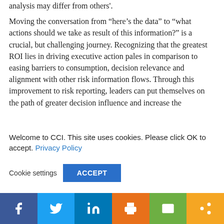analysis may differ from others'.
Moving the conversation from “here’s the data” to “what actions should we take as result of this information?” is a crucial, but challenging journey. Recognizing that the greatest ROI lies in driving executive action pales in comparison to easing barriers to consumption, decision relevance and alignment with other risk information flows. Through this improvement to risk reporting, leaders can put themselves on the path of greater decision influence and increase the
Welcome to CCI. This site uses cookies. Please click OK to accept. Privacy Policy
Cookie settings   ACCEPT